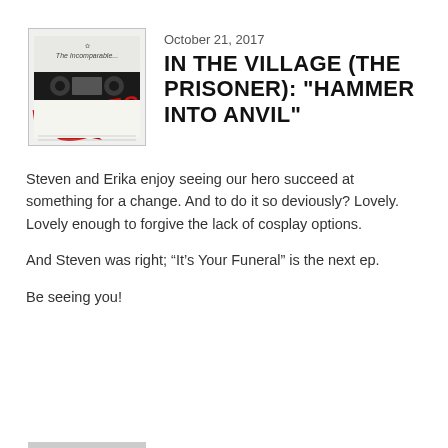[Figure (illustration): Podcast cover art for 'The Incomparable Bootleg' showing a cassette tape with red graffiti-style text reading BOOTLEG and a red blimp/airship graphic on a white/grey background.]
October 21, 2017
IN THE VILLAGE (THE PRISONER): "HAMMER INTO ANVIL"
Steven and Erika enjoy seeing our hero succeed at something for a change. And to do it so deviously? Lovely. Lovely enough to forgive the lack of cosplay options.
And Steven was right; “It’s Your Funeral” is the next ep.
Be seeing you!